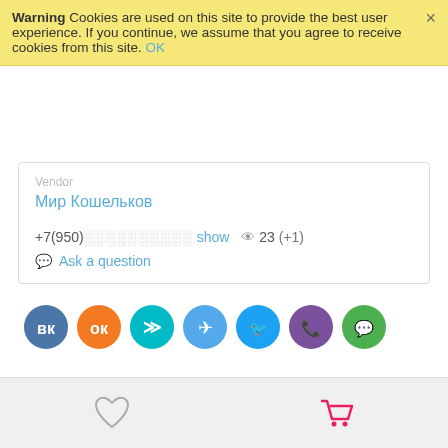Warning Cookies are used on this site to provide the best user experience. If you continue, we assume that you agree to receive cookies from this site. OK
Мир Кошельков
+7(950)░░░░░░░░░░ show 👁 23 (+1)
💬 Ask a question
[Figure (infographic): Social sharing buttons row: VK (blue), OK (orange), MyWorld (teal), Telegram (light blue), Twitter (blue), Viber (purple), WhatsApp (green)]
Описание
Материал: Кожзам; Цвет: Черный; Бренды: НТ; Width: ук12 см; Страна: China
[Figure (infographic): Scroll-to-top circular arrow button (salmon/pink color)]
[Figure (infographic): Bottom toolbar with heart (wishlist) icon on left and shopping cart icon on right]